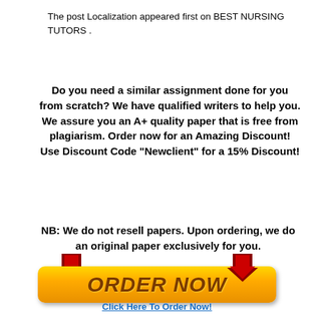The post Localization appeared first on BEST NURSING TUTORS .
Do you need a similar assignment done for you from scratch? We have qualified writers to help you. We assure you an A+ quality paper that is free from plagiarism. Order now for an Amazing Discount!
Use Discount Code "Newclient" for a 15% Discount!
NB: We do not resell papers. Upon ordering, we do an original paper exclusively for you.
[Figure (illustration): Gold ORDER NOW button with dark red downward arrows on left and right, on a white background]
Click Here To Order Now!